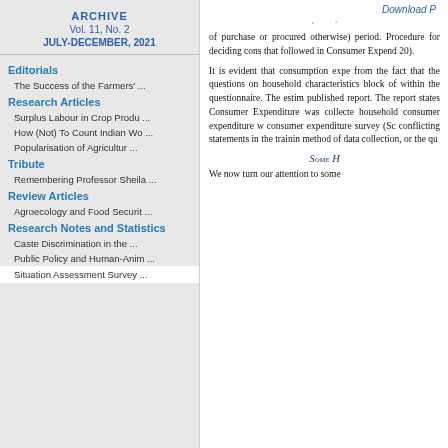ARCHIVE
Vol. 11, No. 2
JULY-DECEMBER, 2021
Editorials
The Success of the Farmers' ...
Research Articles
Surplus Labour in Crop Produ ...
How (Not) To Count Indian Wo ...
Popularisation of Agricultur ...
Tribute
Remembering Professor Sheila ...
Review Articles
Agroecology and Food Securit ...
Research Notes and Statistics
Caste Discrimination in the ...
Public Policy and Human-Anim ...
Situation Assessment Survey ...
Download P
of purchase or procured otherwise) period. Procedure for deciding cons that followed in Consumer Expend 20).
It is evident that consumption expe from the fact that the questions on household characteristics block of within the questionnaire. The estim published report. The report states Consumer Expenditure was collecte household consumer expenditure w consumer expenditure survey (Sc conflicting statements in the trainin method of data collection, or the qu
Some H
We now turn our attention to some